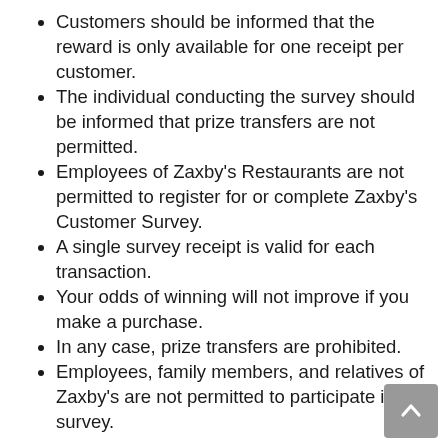Customers should be informed that the reward is only available for one receipt per customer.
The individual conducting the survey should be informed that prize transfers are not permitted.
Employees of Zaxby's Restaurants are not permitted to register for or complete Zaxby's Customer Survey.
A single survey receipt is valid for each transaction.
Your odds of winning will not improve if you make a purchase.
In any case, prize transfers are prohibited.
Employees, family members, and relatives of Zaxby's are not permitted to participate in the survey.